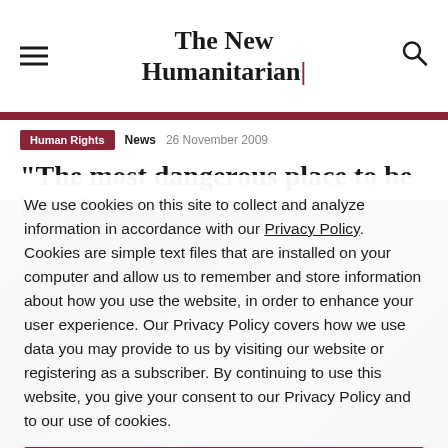The New Humanitarian
Human Rights  News  26 November 2009
"The most dangerous place to be born"
[Figure (photo): Background photo of a person in dark clothing, partially obscured]
We use cookies on this site to collect and analyze information in accordance with our Privacy Policy. Cookies are simple text files that are installed on your computer and allow us to remember and store information about how you use the website, in order to enhance your user experience. Our Privacy Policy covers how we use data you may provide to us by visiting our website or registering as a subscriber. By continuing to use this website, you give your consent to our Privacy Policy and to our use of cookies.
OK, I agree